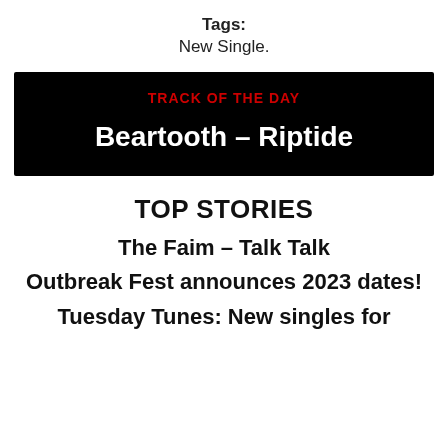Tags:
New Single.
[Figure (other): Black banner with red 'TRACK OF THE DAY' label and white bold text 'Beartooth – Riptide']
TOP STORIES
The Faim – Talk Talk
Outbreak Fest announces 2023 dates!
Tuesday Tunes: New singles for